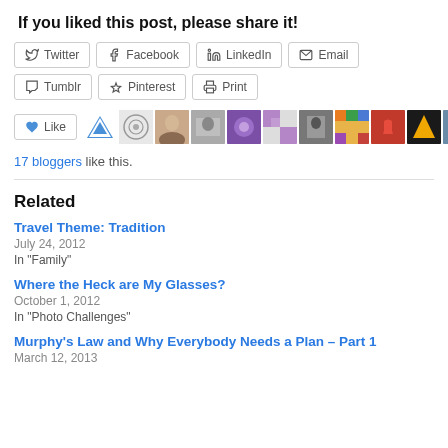If you liked this post, please share it!
Twitter | Facebook | LinkedIn | Email | Tumblr | Pinterest | Print
[Figure (other): Like button and blogger avatar thumbnails row showing 17 bloggers who liked this post]
17 bloggers like this.
Related
Travel Theme: Tradition
July 24, 2012
In "Family"
Where the Heck are My Glasses?
October 1, 2012
In "Photo Challenges"
Murphy's Law and Why Everybody Needs a Plan – Part 1
March 12, 2013